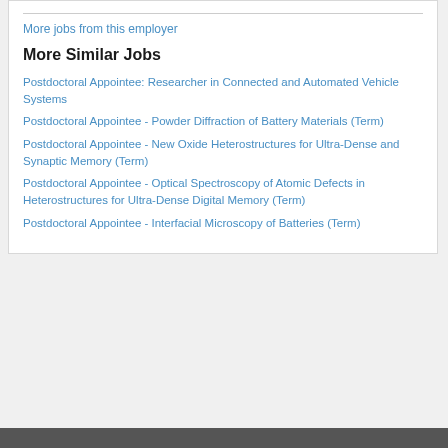More jobs from this employer
More Similar Jobs
Postdoctoral Appointee: Researcher in Connected and Automated Vehicle Systems
Postdoctoral Appointee - Powder Diffraction of Battery Materials (Term)
Postdoctoral Appointee - New Oxide Heterostructures for Ultra-Dense and Synaptic Memory (Term)
Postdoctoral Appointee - Optical Spectroscopy of Atomic Defects in Heterostructures for Ultra-Dense Digital Memory (Term)
Postdoctoral Appointee - Interfacial Microscopy of Batteries (Term)